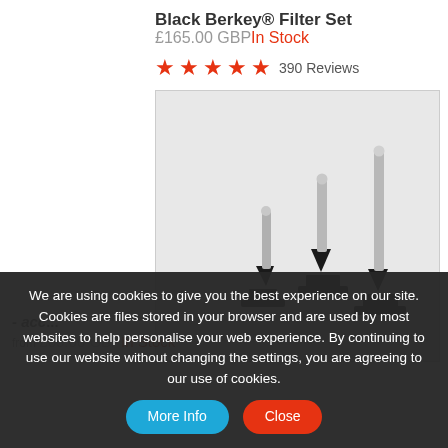Black Berkey® Filter Set
£165.00 GBP In Stock
★★★★★ 390 Reviews
[Figure (photo): Three Black Berkey filter elements of different sizes with stainless steel stems and black bases arranged smallest to tallest left to right on a light grey background]
We are using cookies to give you the best experience on our site. Cookies are files stored in your browser and are used by most websites to help personalise your web experience. By continuing to use our website without changing the settings, you are agreeing to our use of cookies.
- acc... More Info Close
from £60.00 GBP In Stock